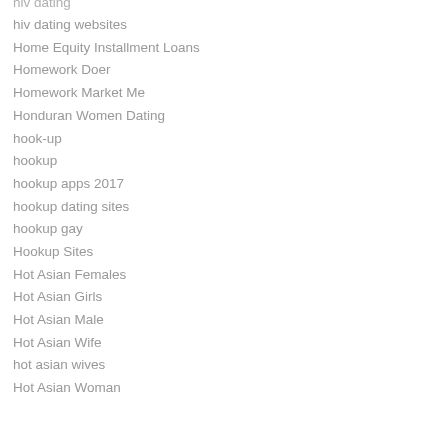hiv dating
hiv dating websites
Home Equity Installment Loans
Homework Doer
Homework Market Me
Honduran Women Dating
hook-up
hookup
hookup apps 2017
hookup dating sites
hookup gay
Hookup Sites
Hot Asian Females
Hot Asian Girls
Hot Asian Male
Hot Asian Wife
hot asian wives
Hot Asian Woman